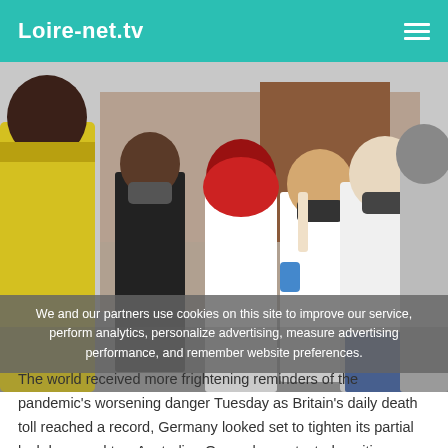Loire-net.tv
[Figure (photo): Outdoor COVID-19 testing site with several people wearing masks and winter clothing. A healthcare worker in white coat and blue gloves administers a nasal swab test at a folding table. A sign in the background reads 'COVID TESTING RESULTS IN 15 MINUT'. A person in a yellow hoodie is prominent on the left.]
We and our partners use cookies on this site to improve our service, perform analytics, personalize advertising, measure advertising performance, and remember website preferences.
The world received more frightening reminders of the pandemic's worsening danger Tuesday as Britain's daily death toll reached a record, Germany looked set to tighten its partial lockdown and two Australian Open players tested positive.